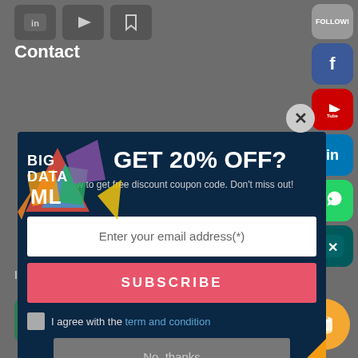[Figure (screenshot): Website page background with dark gray color showing social media icons on the right side (Follow, Facebook, YouTube, LinkedIn, WhatsApp, Xing buttons), Contact section label, and bottom navigation links (Impressum, Datenschutzerklärung), green chat button and orange coffee button.]
Contact
[Figure (infographic): Popup modal with dark navy blue background. Shows Big Data ML logo on left, large text 'GET 20% OFF?', subtitle 'ibe now to get free discount coupon code. Don't miss out!', white email input field, red SUBSCRIBE button, checkbox with 'I agree with the term and condition', gray 'No, thanks' button, and italic disclaimer text 'We will never spam you, unsubscribe anytime.']
Impressum
nschutzerklärung